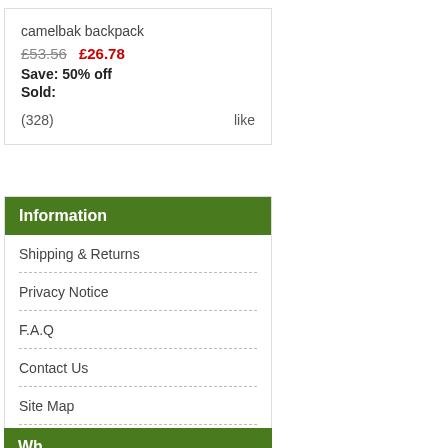camelbak backpack
£53.56  £26.78
Save: 50% off
Sold:
(328)  like
Information
Shipping & Returns
Privacy Notice
F.A.Q
Contact Us
Site Map
Gift Certificate FAQ
Discount Coupons
Newsletter Unsubscribe